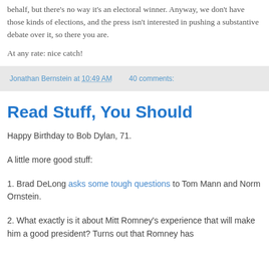behalf, but there's no way it's an electoral winner. Anyway, we don't have those kinds of elections, and the press isn't interested in pushing a substantive debate over it, so there you are.
At any rate: nice catch!
Jonathan Bernstein at 10:49 AM   40 comments:
Read Stuff, You Should
Happy Birthday to Bob Dylan, 71.
A little more good stuff:
1. Brad DeLong asks some tough questions to Tom Mann and Norm Ornstein.
2. What exactly is it about Mitt Romney's experience that will make him a good president? Turns out that Romney has